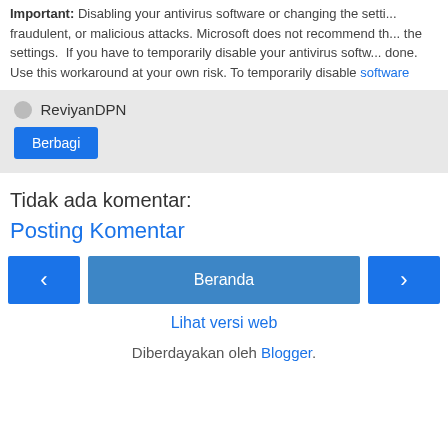Important: Disabling your antivirus software or changing the settings may expose your computer to fraudulent, or malicious attacks. Microsoft does not recommend that you permanently changed the settings. If you have to temporarily disable your antivirus software, you should re-enable it as soon as you are done. Use this workaround at your own risk. To temporarily disable antivirus software
ReviyanDPN
Berbagi
Tidak ada komentar:
Posting Komentar
‹ Beranda ›
Lihat versi web
Diberdayakan oleh Blogger.